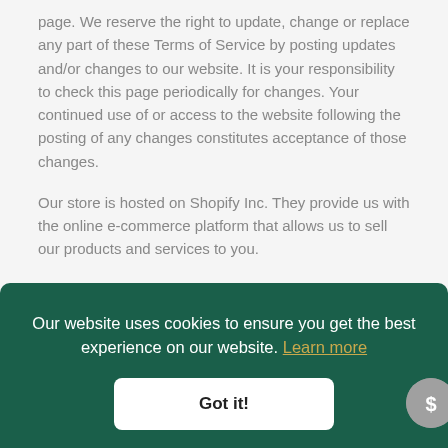page. We reserve the right to update, change or replace any part of these Terms of Service by posting updates and/or changes to our website. It is your responsibility to check this page periodically for changes. Your continued use of or access to the website following the posting of any changes constitutes acceptance of those changes.
Our store is hosted on Shopify Inc. They provide us with the online e-commerce platform that allows us to sell our products and services to you.
SECTION 1 – ONLINE STORE TERMS
By agreeing to these Terms of Service, you represent that you
Our website uses cookies to ensure you get the best experience on our website. Learn more
Got it!